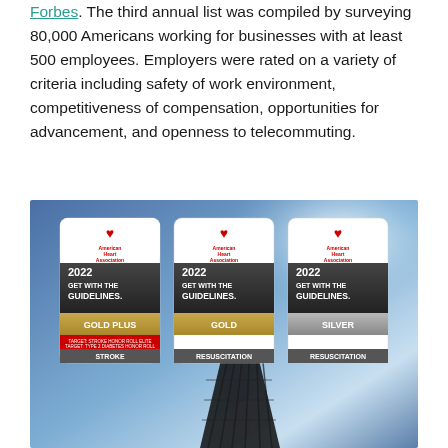Forbes. The third annual list was compiled by surveying 80,000 Americans working for businesses with at least 500 employees. Employers were rated on a variety of criteria including safety of work environment, competitiveness of compensation, opportunities for advancement, and openness to telecommuting.
[Figure (photo): American Heart Association 2022 Get With The Guidelines awards: Gold Plus (Stroke, with Target Stroke Honor Roll Elite and Target Type 2 Diabetes Honor Roll badges), Gold (Resuscitation), and Silver (Resuscitation), displayed against a blue sky background with a building structure visible.]